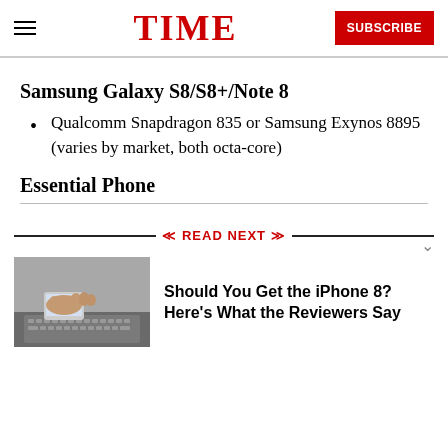TIME — SUBSCRIBE
Samsung Galaxy S8/S8+/Note 8
Qualcomm Snapdragon 835 or Samsung Exynos 8895 (varies by market, both octa-core)
Essential Phone
READ NEXT
[Figure (photo): Hands using a smartphone on a laptop keyboard]
Should You Get the iPhone 8? Here's What the Reviewers Say